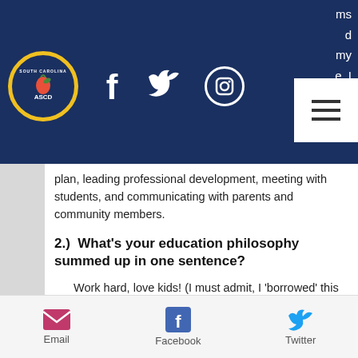[Figure (logo): South Carolina ASCD logo - circular yellow-bordered logo with peach icon and navigation bar with Facebook, Twitter, Instagram social icons]
plan, leading professional development, meeting with students, and communicating with parents and community members.
2.)  What’s your education philosophy summed up in one sentence?
Work hard, love kids! (I must admit, I ‘borrowed’ this from another educator!).
3.) Why did you become an
Email   Facebook   Twitter